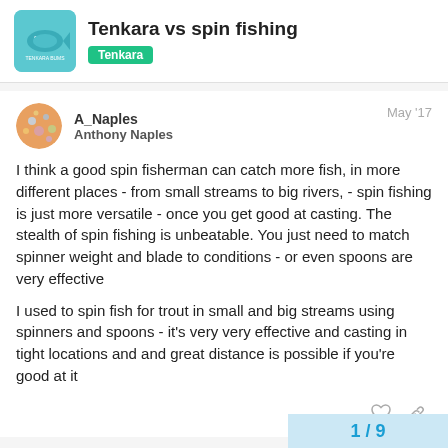Tenkara vs spin fishing — Tenkara
A_Naples
Anthony Naples
May '17
I think a good spin fisherman can catch more fish, in more different places - from small streams to big rivers, - spin fishing is just more versatile - once you get good at casting. The stealth of spin fishing is unbeatable. You just need to match spinner weight and blade to conditions - or even spoons are very effective
I used to spin fish for trout in small and big streams using spinners and spoons - it's very very effective and casting in tight locations and and great distance is possible if you're good at it
1 / 9